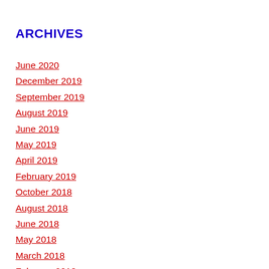ARCHIVES
June 2020
December 2019
September 2019
August 2019
June 2019
May 2019
April 2019
February 2019
October 2018
August 2018
June 2018
May 2018
March 2018
February 2018
January 2018